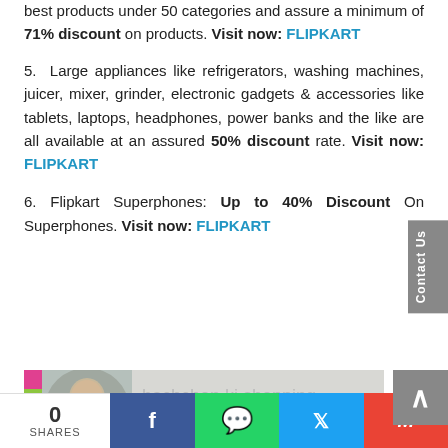best products under 50 categories and assure a minimum of 71% discount on products. Visit now: FLIPKART
5. Large appliances like refrigerators, washing machines, juicer, mixer, grinder, electronic gadgets & accessories like tablets, laptops, headphones, power banks and the like are all available at an assured 50% discount rate. Visit now: FLIPKART
6. Flipkart Superphones: Up to 40% Discount On Superphones. Visit now: FLIPKART
[Figure (photo): Flipkart advertisement banner showing a celebrity with text 'bachchon ki shopping bachchon ka khel nahin']
0 SHARES | Facebook | WhatsApp | Twitter | Gmail